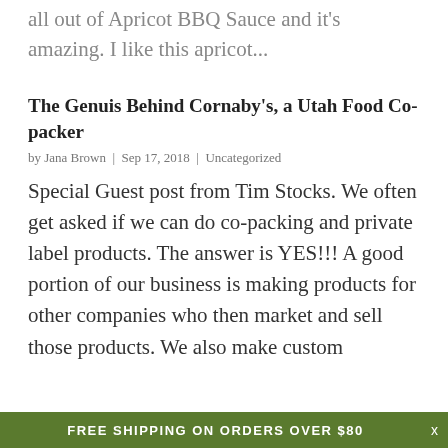all out of Apricot BBQ Sauce and it's amazing. I like this apricot...
The Genuis Behind Cornaby's, a Utah Food Co-packer
by Jana Brown | Sep 17, 2018 | Uncategorized
Special Guest post from Tim Stocks. We often get asked if we can do co-packing and private label products. The answer is YES!!! A good portion of our business is making products for other companies who then market and sell those products. We also make custom
FREE SHIPPING ON ORDERS OVER $80   x